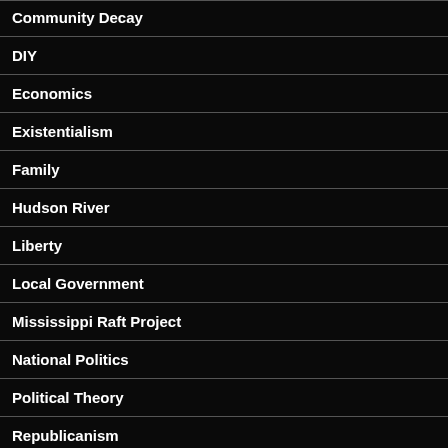Community Decay
DIY
Economics
Existentialism
Family
Hudson River
Liberty
Local Government
Mississippi Raft Project
National Politics
Political Theory
Republicanism